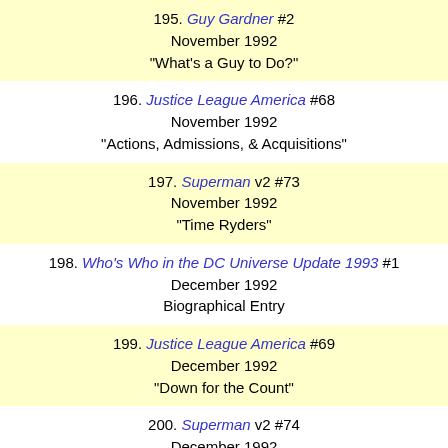195. Guy Gardner #2 / November 1992 / "What's a Guy to Do?"
196. Justice League America #68 / November 1992 / "Actions, Admissions, & Acquisitions"
197. Superman v2 #73 / November 1992 / "Time Ryders"
198. Who's Who in the DC Universe Update 1993 #1 / December 1992 / Biographical Entry
199. Justice League America #69 / December 1992 / "Down for the Count"
200. Superman v2 #74 / December 1992 / "Countdown to Doomsday!"
201. The Adventures of Superman #497 / December 1992 / "Under Fire"